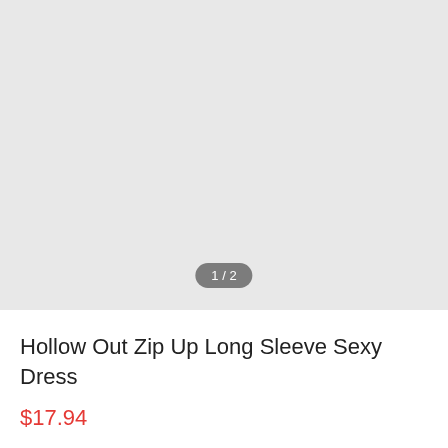[Figure (photo): Light gray placeholder image area for a product photo, with a '1 / 2' image counter badge at the bottom center]
Hollow Out Zip Up Long Sleeve Sexy Dress
$17.94